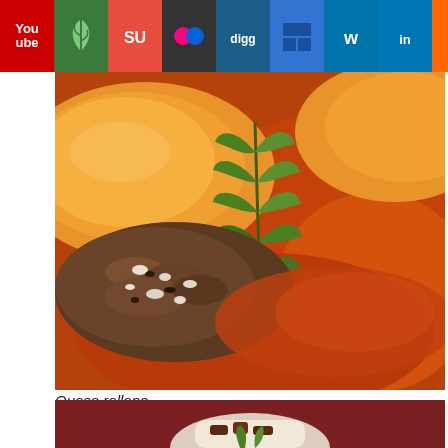[Figure (screenshot): Social media toolbar with YouTube, StumbleUpon, Flickr, Digg, Delicious, WordPress, LinkedIn, Reddit, chat, Facebook, Twitter, RSS icons]
[Figure (photo): Close-up photo of Queso relleno – stuffed cheese dish with meat filling, tomato sauce, and herb garnish on top of a golden dough bun]
Queso relleno
[Figure (photo): Bottom portion of a second food photo showing a dish with dark red/maroon background, partially visible]